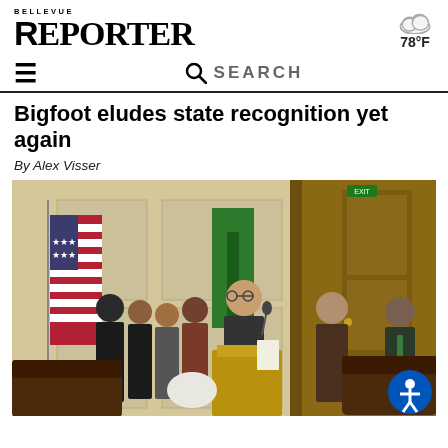BELLEVUE REPORTER | 78°F
SEARCH
Bigfoot eludes state recognition yet again
By Alex Visser
[Figure (photo): A man in a suit speaks at a podium in what appears to be a government building. Several people stand behind him, including men and women in various attire. An American flag and a green Washington state flag are visible in the background. Dark wooden paneling and doors are visible. A leather chair is in the foreground. An accessibility icon button appears in the bottom right corner.]